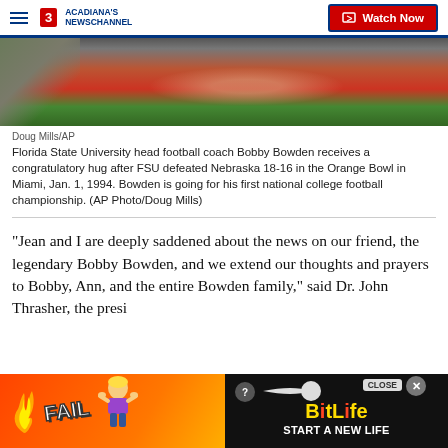ACADIANA'S NEWSCHANNEL | Watch Now
[Figure (photo): Close-up photo of hands, person wearing red shirt with yellow wristband, partially visible]
Doug Mills/AP
Florida State University head football coach Bobby Bowden receives a congratulatory hug after FSU defeated Nebraska 18-16 in the Orange Bowl in Miami, Jan. 1, 1994. Bowden is going for his first national college football championship. (AP Photo/Doug Mills)
"Jean and I are deeply saddened about the news on our friend, the legendary Bobby Bowden, and we extend our thoughts and prayers to Bobby, Ann, and the entire Bowden family," said Dr. John Thrasher, the presi
[Figure (screenshot): BitLife advertisement banner: FAIL text, cartoon character, flames, sperm graphic, START A NEW LIFE text on dark background]